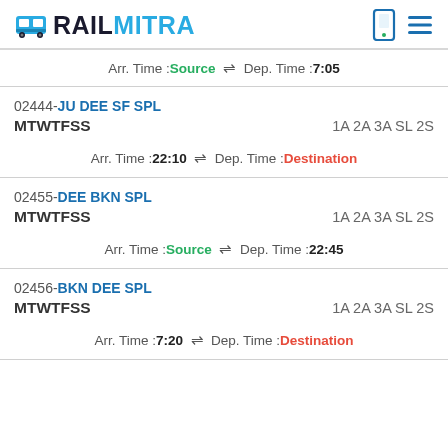RailMitra
Arr. Time :Source ⇌ Dep. Time :7:05
02444-JU DEE SF SPL
MTWTFSS	1A 2A 3A SL 2S
Arr. Time :22:10 ⇌ Dep. Time :Destination
02455-DEE BKN SPL
MTWTFSS	1A 2A 3A SL 2S
Arr. Time :Source ⇌ Dep. Time :22:45
02456-BKN DEE SPL
MTWTFSS	1A 2A 3A SL 2S
Arr. Time :7:20 ⇌ Dep. Time :Destination